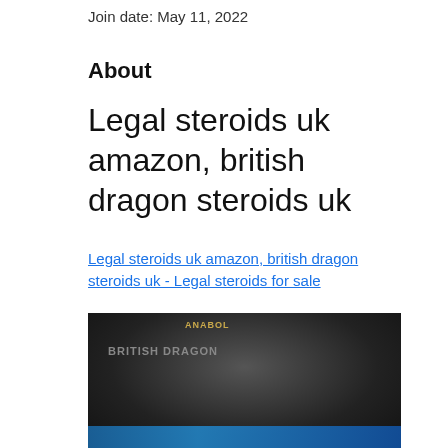Join date: May 11, 2022
About
Legal steroids uk amazon, british dragon steroids uk
Legal steroids uk amazon, british dragon steroids uk - Legal steroids for sale
[Figure (photo): A dark blurred image with a golden/yellow text element at the top center and a blue bar at the bottom, appears to be a product or website screenshot heavily blurred.]